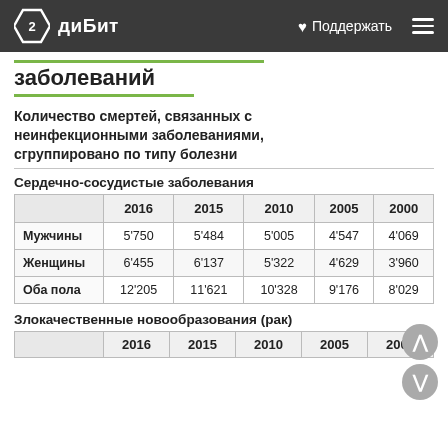2 диБит   ♥ Поддержать  ☰
заболеваний
Количество смертей, связанных с неинфекционными заболеваниями, сгруппировано по типу болезни
Сердечно-сосудистые заболевания
|  | 2016 | 2015 | 2010 | 2005 | 2000 |
| --- | --- | --- | --- | --- | --- |
| Мужчины | 5'750 | 5'484 | 5'005 | 4'547 | 4'069 |
| Женщины | 6'455 | 6'137 | 5'322 | 4'629 | 3'960 |
| Оба пола | 12'205 | 11'621 | 10'328 | 9'176 | 8'029 |
Злокачественные новообразования (рак)
|  | 2016 | 2015 | 2010 | 2005 | 2000 |
| --- | --- | --- | --- | --- | --- |